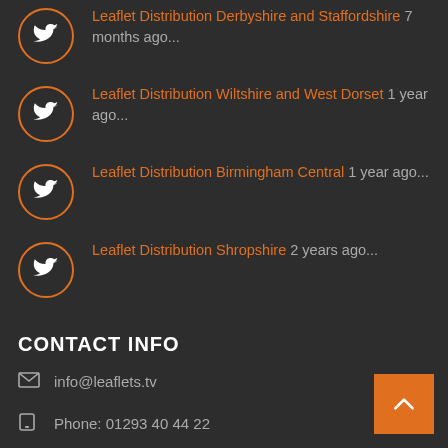Leaflet Distribution Derbyshire and Staffordshire 7 months ago...
Leaflet Distribution Wiltshire and West Dorset 1 year ago...
Leaflet Distribution Birmingham Central 1 year ago...
Leaflet Distribution Shropshire 2 years ago...
CONTACT INFO
info@leaflets.tv
Phone: 01293 40 44 22